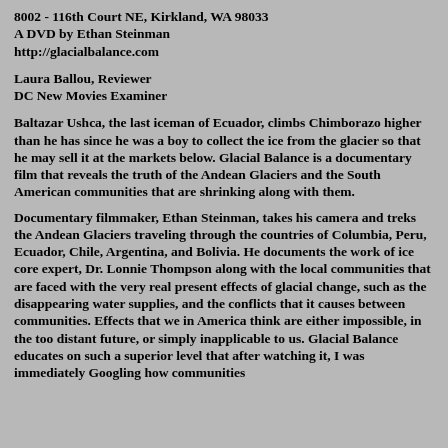8002 - 116th Court NE, Kirkland, WA 98033
A DVD by Ethan Steinman
http://glacialbalance.com
Laura Ballou, Reviewer
DC New Movies Examiner
Baltazar Ushca, the last iceman of Ecuador, climbs Chimborazo higher than he has since he was a boy to collect the ice from the glacier so that he may sell it at the markets below. Glacial Balance is a documentary film that reveals the truth of the Andean Glaciers and the South American communities that are shrinking along with them.
Documentary filmmaker, Ethan Steinman, takes his camera and treks the Andean Glaciers traveling through the countries of Columbia, Peru, Ecuador, Chile, Argentina, and Bolivia. He documents the work of ice core expert, Dr. Lonnie Thompson along with the local communities that are faced with the very real present effects of glacial change, such as the disappearing water supplies, and the conflicts that it causes between communities. Effects that we in America think are either impossible, in the too distant future, or simply inapplicable to us. Glacial Balance educates on such a superior level that after watching it, I was immediately Googling how communities could better share in water resources,